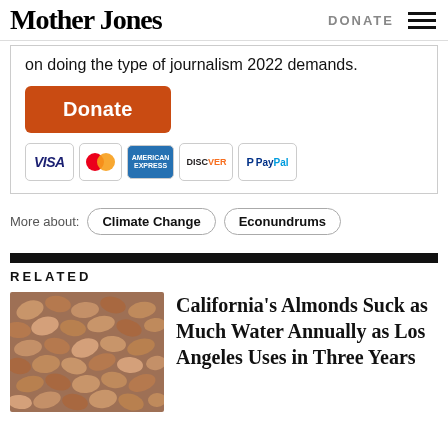Mother Jones | DONATE
on doing the type of journalism 2022 demands.
Donate
[Figure (logo): Payment logos: VISA, MasterCard, American Express, Discover, PayPal]
More about: Climate Change  Econundrums
RELATED
[Figure (photo): Close-up photo of brown almonds piled together]
California's Almonds Suck as Much Water Annually as Los Angeles Uses in Three Years